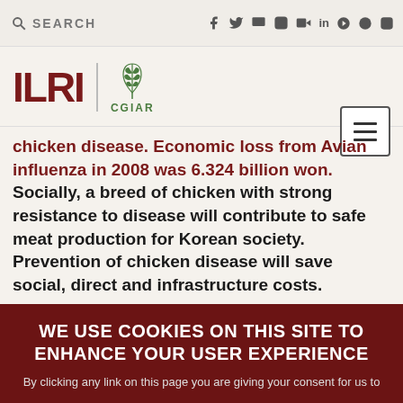SEARCH | social media icons
[Figure (logo): ILRI CGIAR logo with hamburger menu button]
chicken disease.  Economic loss from Avian influenza in 2008 was 6.324 billion won.  Socially, a breed of chicken with strong resistance to disease will contribute to safe meat production for Korean society.  Prevention of chicken disease will save social, direct and infrastructure costs.
Objectives:
WE USE COOKIES ON THIS SITE TO ENHANCE YOUR USER EXPERIENCE

By clicking any link on this page you are giving your consent for us to